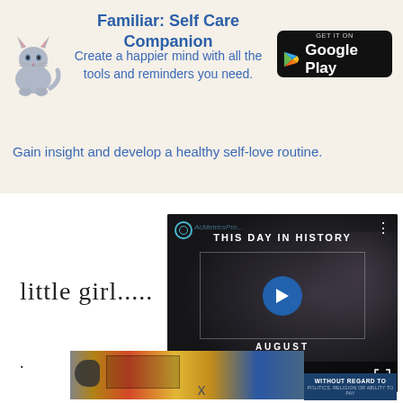[Figure (screenshot): Close button (X) in dark circle top-left corner]
[Figure (infographic): App advertisement banner for 'Familiar: Self Care Companion' with cat illustration and Google Play button. Title: Familiar: Self Care Companion. Subtitle: Create a happier mind with all the tools and reminders you need. Tagline: Gain insight and develop a healthy self-love routine.]
little girl.....
.
[Figure (screenshot): Video player overlay showing 'THIS DAY IN HISTORY' with AcMetricsPro watermark, play button, AUGUST label, mute button, progress bar, and fullscreen button on dark background with crowd silhouette]
[Figure (photo): Airline cargo plane on tarmac with yellow/red/blue livery being loaded, with overlay text bar reading 'WITHOUT REGARD TO POLITICS, RELIGION OR ABILITY TO PAY']
x